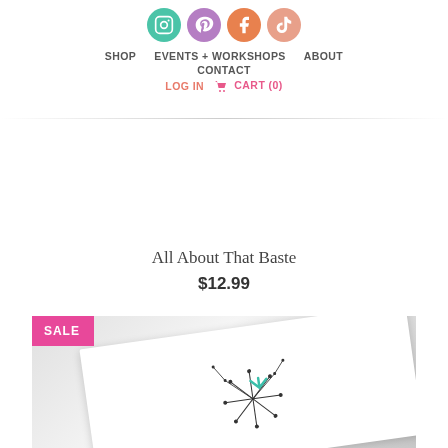[Figure (screenshot): Social media icons row: Instagram (teal), Pinterest (purple), Facebook (orange), TikTok (salmon pink) — circular icons]
SHOP   EVENTS + WORKSHOPS   ABOUT   CONTACT   LOG IN   CART (0)
All About That Baste
$12.99
[Figure (photo): Product image with SALE badge in pink/magenta. Shows a white greeting card with a geometric dandelion/starburst line drawing in dark ink with a teal/green accent element, set against a dark blurred background.]